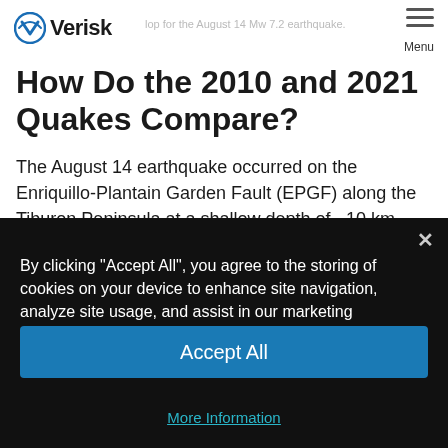Verisk — map for the August 14 Mw 7.2 earthquake. (Source: …) — Menu
How Do the 2010 and 2021 Quakes Compare?
The August 14 earthquake occurred on the Enriquillo-Plantain Garden Fault (EPGF) along the Tiburon Peninsula at a shallow depth of ~10 km. Historically, the largest earthquake to occur on the EPGF was an Mw 7.5 in 1770 with an epicenter located only 30 km east of the
By clicking "Accept All", you agree to the storing of cookies on your device to enhance site navigation, analyze site usage, and assist in our marketing effort  Cookie Policy
Accept All
More Information